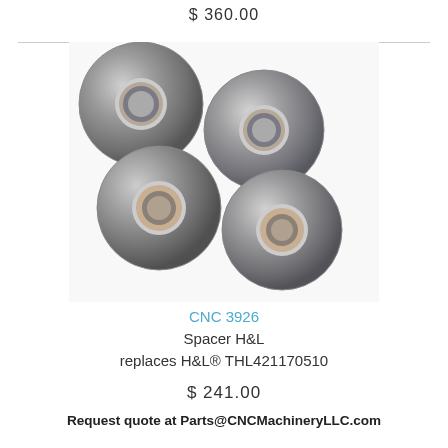$ 360.00
[Figure (photo): Four metal washers/spacers (H&L spacers, CNC 3926) arranged on a white background. The washers are circular with a hole in the center, made of steel with a dark metallic finish.]
CNC 3926
Spacer H&L
replaces H&L® THL421170510
$ 241.00
Request quote at Parts@CNCMachineryLLC.com